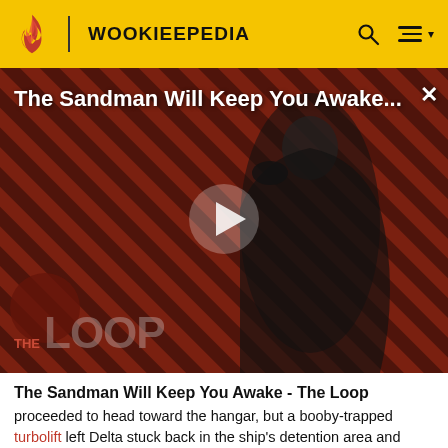WOOKIEEPEDIA
[Figure (screenshot): Video thumbnail for 'The Sandman Will Keep You Awake...' showing a dark-cloaked figure against a red and black diagonal striped background, with The Loop logo overlay and a play button in the center.]
The Sandman Will Keep You Awake - The Loop
proceeded to head toward the hangar, but a booby-trapped turbolift left Delta stuck back in the ship's detention area and under attack by Trandoshan mercenaries. Repairing the cell block's damaged systems